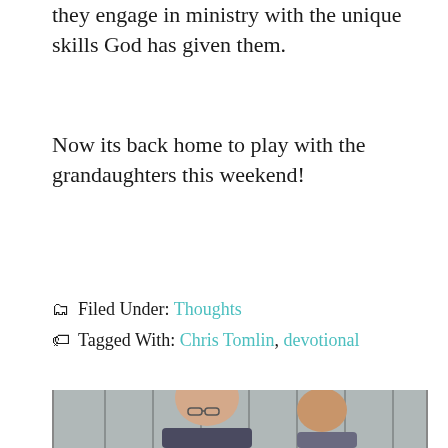they engage in ministry with the unique skills God has given them.
Now its back home to play with the granddaughters this weekend!
Filed Under: Thoughts
Tagged With: Chris Tomlin, devotional
[Figure (photo): Two men photographed in front of vertical gray panels/bars. The man on the left is bald and wearing glasses. The photo is partially cropped at the bottom of the page.]